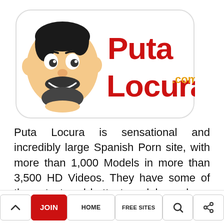[Figure (logo): PutaLocura.com logo with cartoon face of a bearded man and bold red bubble letters reading 'Puta Locura' with '.com' in orange]
Puta Locura is sensational and incredibly large Spanish Porn site, with more than 1,000 Models in more than 3,500 HD Videos. They have some of the cutest and hottest models we have ever seen, most of them from Spain and Latin America, like Colombia, Venezuela, among others. They don't miss any sexual practice, from... hard anal sex.
^ | JOIN | HOME | FREE SITES | (search icon) | (share icon)